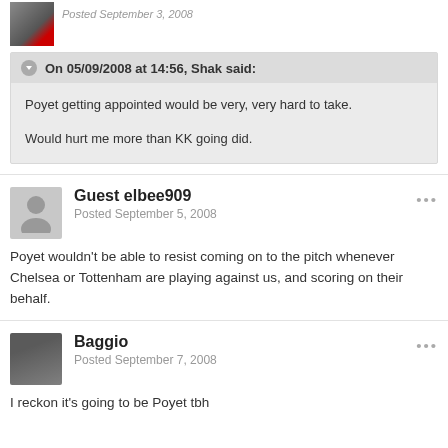Posted September 3, 2008
On 05/09/2008 at 14:56, Shak said:
Poyet getting appointed would be very, very hard to take.
Would hurt me more than KK going did.
Guest elbee909
Posted September 5, 2008
Poyet wouldn't be able to resist coming on to the pitch whenever Chelsea or Tottenham are playing against us, and scoring on their behalf.
Baggio
Posted September 7, 2008
I reckon it's going to be Poyet tbh